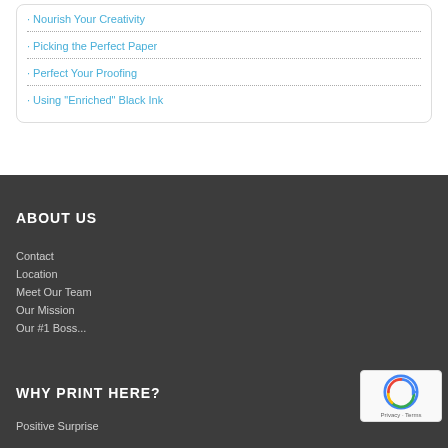· Nourish Your Creativity
· Picking the Perfect Paper
· Perfect Your Proofing
· Using "Enriched" Black Ink
ABOUT US
Contact
Location
Meet Our Team
Our Mission
Our #1 Boss...
WHY PRINT HERE?
Positive Surprise
[Figure (other): reCAPTCHA Privacy - Terms badge]